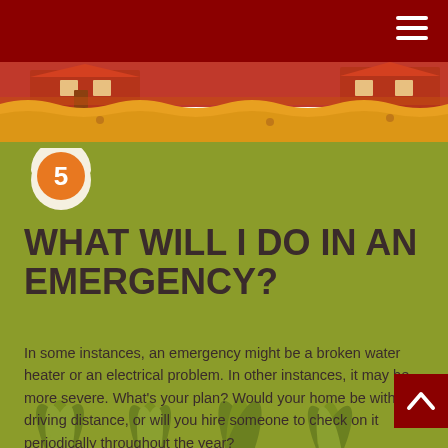[Figure (illustration): Flood scene illustration with red-roofed house partially submerged in orange/yellow flood water with wavy water line]
[Figure (infographic): Map pin icon with orange circle containing white number 5]
WHAT WILL I DO IN AN EMERGENCY?
In some instances, an emergency might be a broken water heater or an electrical problem. In other instances, it may be more severe. What's your plan? Would your home be within driving distance, or will you hire someone to check on it periodically throughout the year?
[Figure (illustration): Green tropical plants at the bottom of the page]
[Figure (infographic): Dark red scroll-to-top button with white upward chevron arrow in bottom right corner]